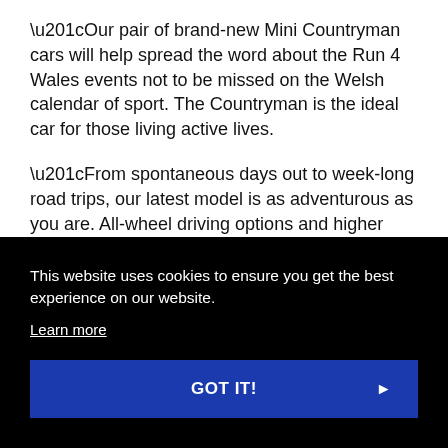“Our pair of brand-new Mini Countryman cars will help spread the word about the Run 4 Wales events not to be missed on the Welsh calendar of sport. The Countryman is the ideal car for those living active lives.
“From spontaneous days out to week-long road trips, our latest model is as adventurous as you are. All-wheel driving options and higher suspension gives you a perfect view of the mountain road or the dirt track. Whatever you’re into, innovative technologies like Mini Connected and Mini Navigation, available as standard,
nt
This website uses cookies to ensure you get the best experience on our website.
Learn more
GOT IT!